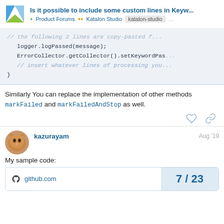Is it possible to include some custom lines in Keyw... | Product Forums | Katalon Studio | katalon-studio
[Figure (screenshot): Code block showing logger.logPassed(message); ErrorCollector.getCollector().setKeywordPas... and // insert whatever lines of processing you and closing brace }]
Similarly You can replace the implementation of other methods markFailed and markFailedAndStop as well.
kazurayam  Aug '19
My sample code:
[Figure (screenshot): GitHub link card showing github.com on the left and page number 7/23 on the right]